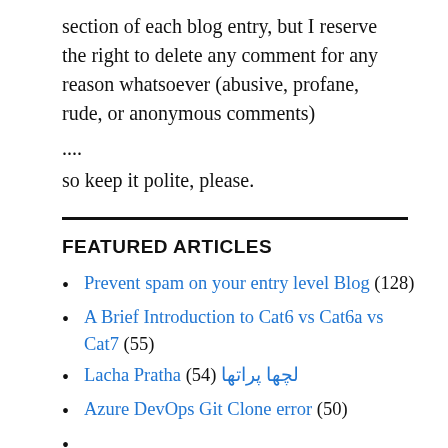section of each blog entry, but I reserve the right to delete any comment for any reason whatsoever (abusive, profane, rude, or anonymous comments)
....
so keep it polite, please.
FEATURED ARTICLES
Prevent spam on your entry level Blog (128)
A Brief Introduction to Cat6 vs Cat6a vs Cat7 (55)
Lacha Pratha (54) لچھا پراتھا
Azure DevOps Git Clone error (50)